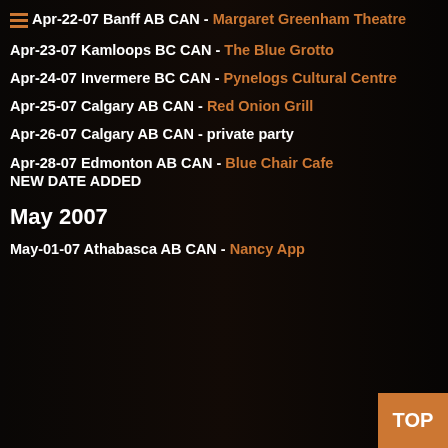Apr-22-07 Banff AB CAN - Margaret Greenham Theatre
Apr-23-07 Kamloops BC CAN - The Blue Grotto
Apr-24-07 Invermere BC CAN - Pynelogs Cultural Centre
Apr-25-07 Calgary AB CAN - Red Onion Grill
Apr-26-07 Calgary AB CAN - private party
Apr-28-07 Edmonton AB CAN - Blue Chair Cafe NEW DATE ADDED
May 2007
May-01-07 Athabasca AB CAN - Nancy App